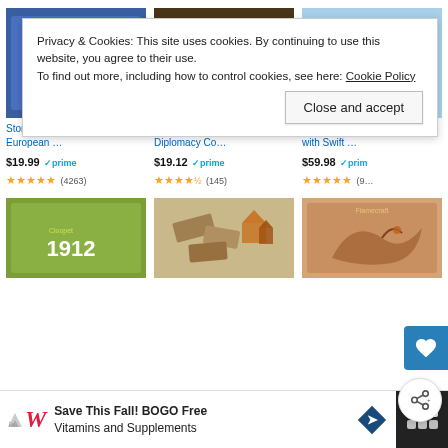[Figure (screenshot): E-commerce product listing page showing board games with a cookie consent banner overlay and a Walgreens advertisement at the bottom.]
Privacy & Cookies: This site uses cookies. By continuing to use this website, you agree to their use.
To find out more, including how to control cookies, see here: Cookie Policy
Close and accept
Stonemaier Games: Wingspan European …
$19.99 ✓prime ★★★★★ (4263)
Hasbro Gaming Avalon Hill Diplomacy Co…
$19.12 ✓prime ★★★★½ (145)
Stonemaier Games Wingspan with Swift …
$59.98 ✓prime ★★★★★ (9…)
Save This Fall! BOGO Free Vitamins and Supplements